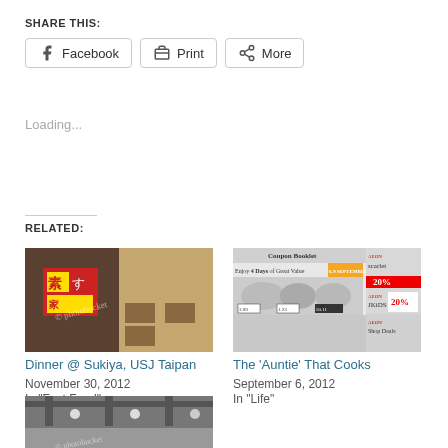SHARE THIS:
Facebook  Print  More
Loading...
RELATED:
[Figure (photo): Dinner photo at Sukiya USJ Taipan - two images collaged showing exterior signage and interior seating]
Dinner @ Sukiya, USJ Taipan
November 30, 2012
In "Fast Food"
[Figure (photo): Coupon booklet for AEON showing food items and discount offers for 4 days of great value, 6-9 September 2012]
The 'Auntie' That Cooks
September 6, 2012
In "Life"
[Figure (photo): Black and white photo of a restaurant or cafe interior with exposed ceiling beams]